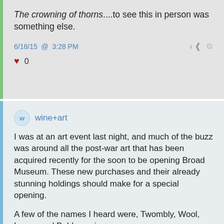The crowning of thorns....to see this in person was something else.
6/18/15 @ 3:28 PM
♥ 0
wine+art
I was at an art event last night, and much of the buzz was around all the post-war art that has been acquired recently for the soon to be opening Broad Museum. These new purchases and their already stunning holdings should make for a special opening.

A few of the names I heard were, Twombly, Wool, Longo and Baldessari.